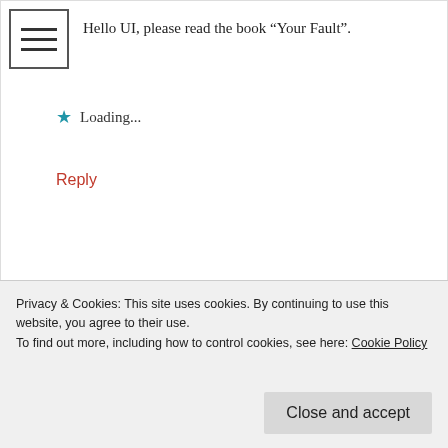[Figure (other): Hamburger menu icon with three horizontal bars inside a square border]
Hello UI, please read the book “Your Fault”.
★ Loading...
Reply
[Figure (photo): Small avatar/profile picture of forsakenguys commenter]
forsakenguys says:
January 16, 2017 at 11:07
Well HG, I do appreciate your insight. I must be honest to admit that I disdain your kind. My experience was in the form
Privacy & Cookies: This site uses cookies. By continuing to use this website, you agree to their use.
To find out more, including how to control cookies, see here: Cookie Policy
Close and accept